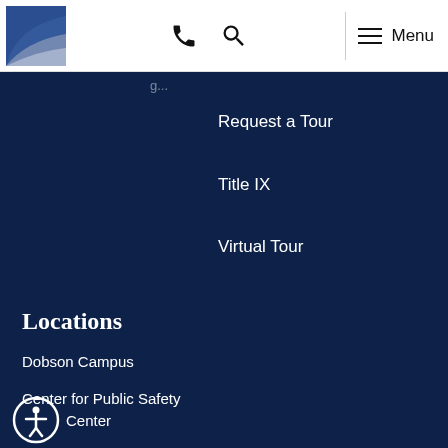[Figure (logo): College logo — blue square with arc/wave graphic]
Phone | Search | Menu navigation bar
Request a Tour
Title IX
Virtual Tour
Locations
Dobson Campus
Center for Public Safety
Center